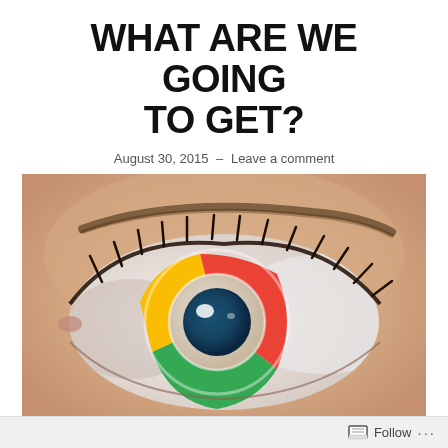WHAT ARE WE GOING TO GET?
August 30, 2015 – Leave a comment
[Figure (photo): Close-up photograph of a human eye with the Google Chrome logo replacing the iris — featuring the Chrome color wheel (red, green, yellow segments) and dark blue pupil center, framed by lashes and skin tones.]
Oh dear, what is this supposed to mean? Are
Follow